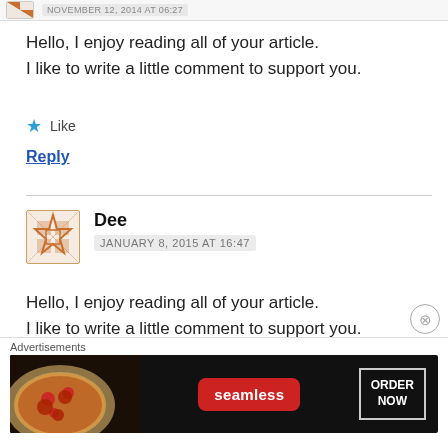NOVEMBER 12, 2014 AT 06:27
Hello, I enjoy reading all of your article.
I like to write a little comment to support you.
Like
Reply
Dee
JANUARY 8, 2015 AT 16:47
Hello, I enjoy reading all of your article.
I like to write a little comment to support you.
[Figure (screenshot): Seamless food delivery advertisement banner with pizza image, Seamless logo in red, and ORDER NOW button]
Advertisements